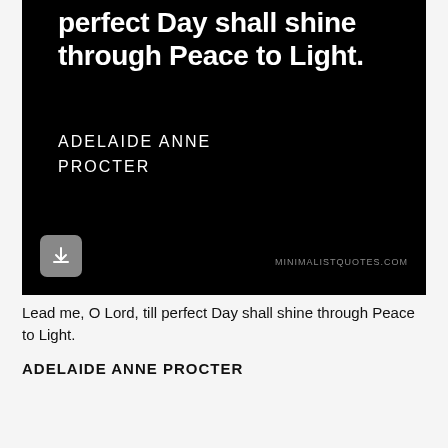[Figure (illustration): Black background minimalist quote card showing white bold text: 'perfect Day shall shine through Peace to Light.' and author name 'ADELAIDE ANNE PROCTER' in white uppercase letters. A grey download button with downward arrow is in the bottom-left, and 'MINIMALISTQUOTES.COM' watermark appears in the bottom-right.]
Lead me, O Lord, till perfect Day shall shine through Peace to Light.
ADELAIDE ANNE PROCTER